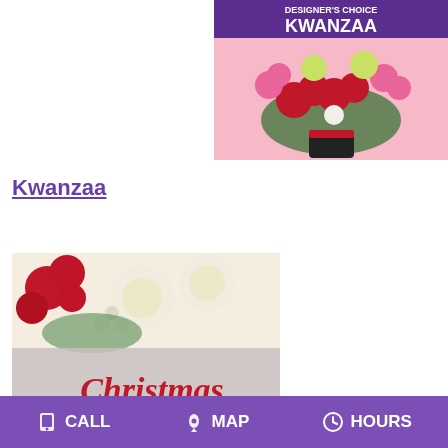[Figure (photo): Kwanzaa designer's choice floral arrangement with red roses, pink flowers, yellow-green spider mums on a pink background with text 'DESIGNER'S CHOICE KWANZAA']
Kwanzaa
[Figure (photo): Christmas designer's choice floral arrangement with red carnations, white gerbera daisies, with script text 'Christmas' and 'DESIGNER'S CHOICE']
CALL   MAP   HOURS